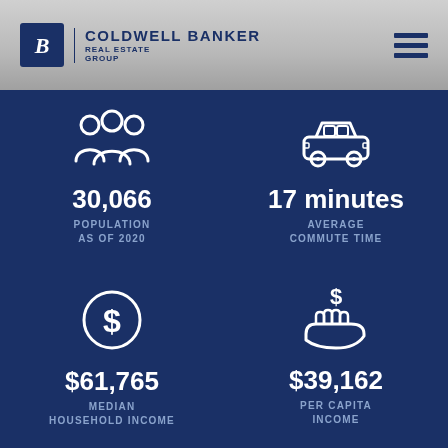[Figure (logo): Coldwell Banker Real Estate Group logo with hamburger menu icon]
30,066
POPULATION AS OF 2020
17 minutes
AVERAGE COMMUTE TIME
$61,765
MEDIAN HOUSEHOLD INCOME
$39,162
PER CAPITA INCOME